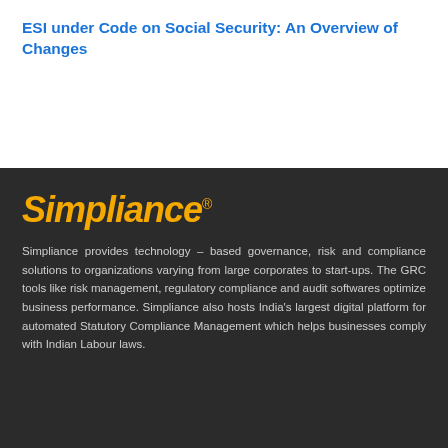ESI under Code on Social Security: An Overview of Changes
[Figure (logo): Simpliance logo in yellow italic bold font with registered trademark symbol]
Simpliance provides technology – based governance, risk and compliance solutions to organizations varying from large corporates to start-ups. The GRC tools like risk management, regulatory compliance and audit softwares optimize business performance. Simpliance also hosts India's largest digital platform for automated Statutory Compliance Management which helps businesses comply with Indian Labour laws.